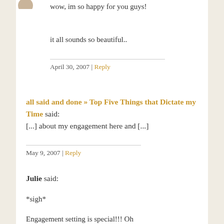wow, im so happy for you guys!
it all sounds so beautiful..
April 30, 2007 | Reply
all said and done » Top Five Things that Dictate my Time said: [...] about my engagement here and [...]
May 9, 2007 | Reply
Julie said:
*sigh*
Engagement setting is special!!! Oh